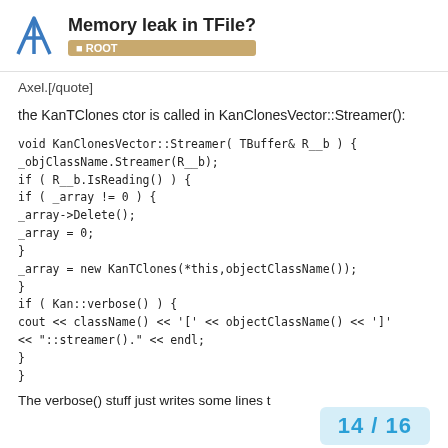Memory leak in TFile? ROOT
Axel.[/quote]
the KanTClones ctor is called in KanClonesVector::Streamer():
void KanClonesVector::Streamer( TBuffer& R__b ) {
_objClassName.Streamer(R__b);
if ( R__b.IsReading() ) {
if ( _array != 0 ) {
_array->Delete();
_array = 0;
}
_array = new KanTClones(*this,objectClassName());
}
if ( Kan::verbose() ) {
cout << className() << '[' << objectClassName() << ']'
<< "::streamer()." << endl;
}
}
The verbose() stuff just writes some lines t